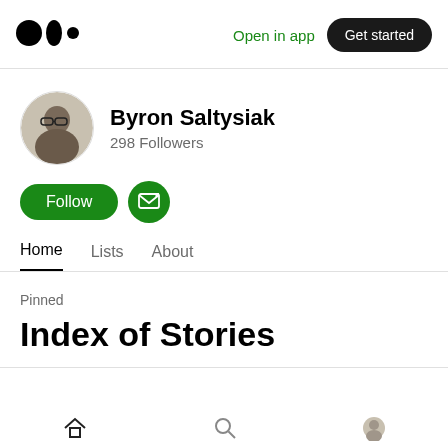Open in app | Get started
Byron Saltysiak
298 Followers
Follow
Home  Lists  About
Pinned
Index of Stories